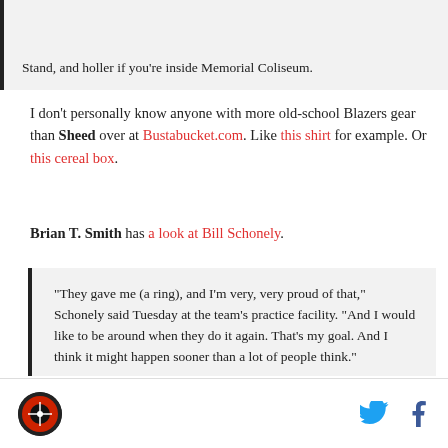Stand, and holler if you're inside Memorial Coliseum.
I don't personally know anyone with more old-school Blazers gear than Sheed over at Bustabucket.com. Like this shirt for example. Or this cereal box.
Brian T. Smith has a look at Bill Schonely.
"They gave me (a ring), and I'm very, very proud of that," Schonely said Tuesday at the team's practice facility. "And I would like to be around when they do it again. That's my goal. And I think it might happen sooner than a lot of people think."
Logo and social media icons